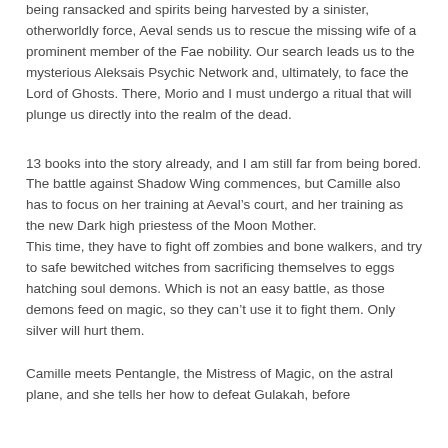being ransacked and spirits being harvested by a sinister, otherworldly force, Aeval sends us to rescue the missing wife of a prominent member of the Fae nobility. Our search leads us to the mysterious Aleksais Psychic Network and, ultimately, to face the Lord of Ghosts. There, Morio and I must undergo a ritual that will plunge us directly into the realm of the dead.
13 books into the story already, and I am still far from being bored. The battle against Shadow Wing commences, but Camille also has to focus on her training at Aeval’s court, and her training as the new Dark high priestess of the Moon Mother.
This time, they have to fight off zombies and bone walkers, and try to safe bewitched witches from sacrificing themselves to eggs hatching soul demons. Which is not an easy battle, as those demons feed on magic, so they can’t use it to fight them. Only silver will hurt them.
Camille meets Pentangle, the Mistress of Magic, on the astral plane, and she tells her how to defeat Gulakah, before